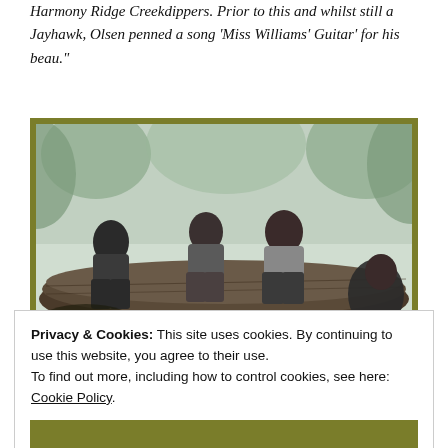Harmony Ridge Creekdippers. Prior to this and whilst still a Jayhawk, Olsen penned a song 'Miss Williams' Guitar' for his beau."
[Figure (photo): Black and white photograph of four people (a band) sitting on large logs outdoors, surrounded by trees. Olive/yellow-green border around the photo.]
Privacy & Cookies: This site uses cookies. By continuing to use this website, you agree to their use.
To find out more, including how to control cookies, see here: Cookie Policy